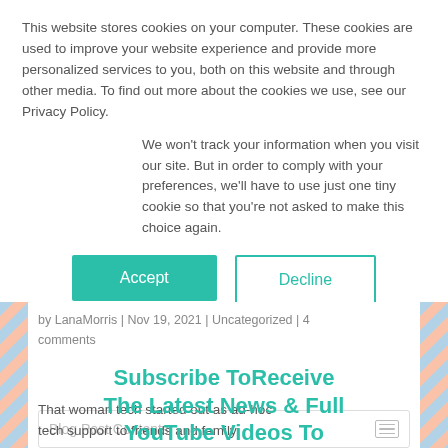This website stores cookies on your computer. These cookies are used to improve your website experience and provide more personalized services to you, both on this website and through other media. To find out more about the cookies we use, see our Privacy Policy.
We won't track your information when you visit our site. But in order to comply with your preferences, we'll have to use just one tiny cookie so that you're not asked to make this choice again.
Accept
Decline
by LanaMorris | Nov 19, 2021 | Uncategorized | 4 comments
Subscribe ToReceive The Latest News & Full YouTube Videos To Your Inbox!
That woman tech started out as ad-hoc tech support to friends and family
Blog Post Contents